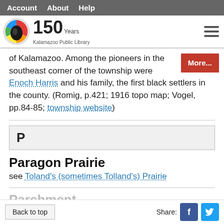Account   About   Help
[Figure (logo): Kalamazoo Public Library 150 Years logo with rainbow circle icon and hamburger menu icon]
of Kalamazoo. Among the pioneers in the southeast corner of the township were Enoch Harris and his family, the first black settlers in the county. (Romig, p.421; 1916 topo map; Vogel, pp.84-85; township website)
P
Paragon Prairie
see Toland's (sometimes Tolland's) Prairie
Back to top   Share: